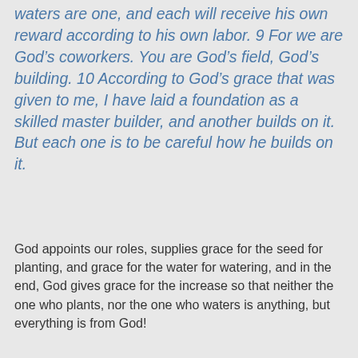waters are one, and each will receive his own reward according to his own labor. 9 For we are God's coworkers. You are God's field, God's building. 10 According to God's grace that was given to me, I have laid a foundation as a skilled master builder, and another builds on it. But each one is to be careful how he builds on it.
God appoints our roles, supplies grace for the seed for planting, and grace for the water for watering, and in the end, God gives grace for the increase so that neither the one who plants, nor the one who waters is anything, but everything is from God!